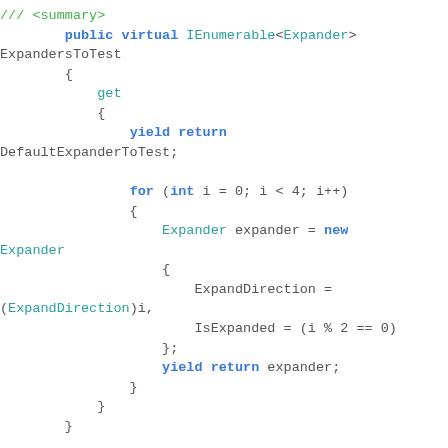/// <summary>
        public virtual IEnumerable<Expander> ExpandersToTest
        {
            get
            {
                yield return DefaultExpanderToTest;

                for (int i = 0; i < 4; i++)
                {
                    Expander expander = new Expander
                    {
                        ExpandDirection = (ExpandDirection)i,
                        IsExpanded = (i % 2 == 0)
                    };
                    yield return expander;
                }
            }
        }

        /// <summary>
        /// Gets instances of
        IOverriddenContentControl (or derived types)